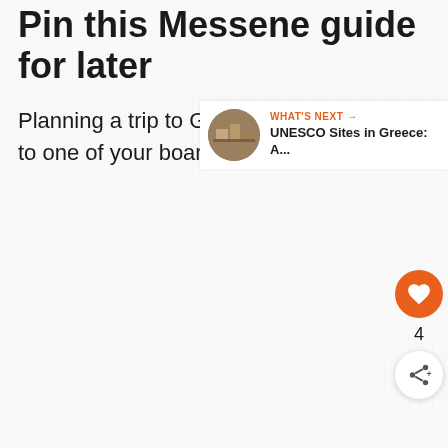Pin this Messene guide for later
Planning a trip to Greece? Pin this guide to one of your boards for later.
[Figure (screenshot): Orange heart/like button, count of 4, and share button floating on the right side of the page]
[Figure (screenshot): WHAT'S NEXT card at bottom right with thumbnail image and text 'UNESCO Sites in Greece: A...']